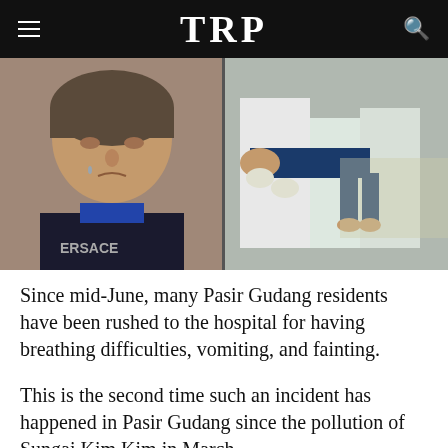TRP
[Figure (photo): Two-panel photo: left panel shows a distressed middle-aged man wearing a black Versace shirt, appearing to cry; right panel shows medical workers in white protective suits carrying an unconscious person.]
Since mid-June, many Pasir Gudang residents have been rushed to the hospital for having breathing difficulties, vomiting, and fainting.
This is the second time such an incident has happened in Pasir Gudang since the pollution of Sungai Kim Kim in March.